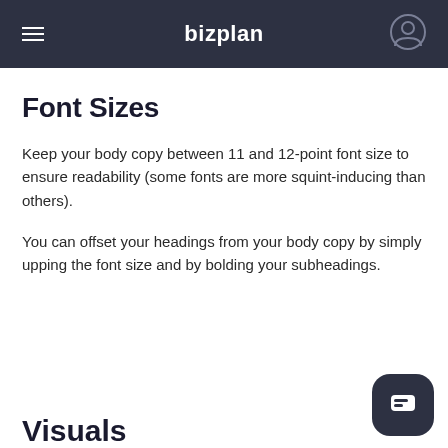bizplan
Font Sizes
Keep your body copy between 11 and 12-point font size to ensure readability (some fonts are more squint-inducing than others).
You can offset your headings from your body copy by simply upping the font size and by bolding your subheadings.
Visuals